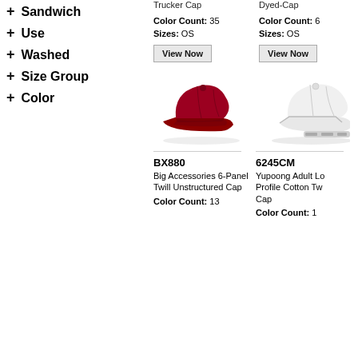+ Sandwich
+ Use
+ Washed
+ Size Group
+ Color
Trucker Cap
Color Count:  35
Sizes:  OS
View Now
Dyed-Cap
Color Count:  6
Sizes:  OS
View Now
[Figure (photo): Dark red/maroon 6-panel baseball cap facing right]
[Figure (photo): White low-profile cap, partially visible]
BX880
Big Accessories 6-Panel Twill Unstructured Cap
Color Count:  13
6245CM
Yupoong Adult Low Profile Cotton Twill Cap
Color Count:  1